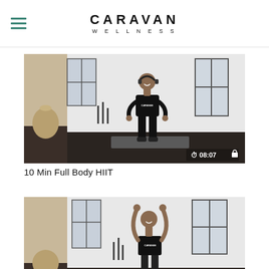CARAVAN WELLNESS
[Figure (screenshot): Video thumbnail of a woman in black workout clothes standing on a yoga mat in a bright studio with large windows and a decorative vase. Duration badge shows 08:07 with a lock icon.]
10 Min Full Body HIIT
[Figure (screenshot): Partial video thumbnail of a woman in black sports bra with arms raised overhead in a bright studio with large windows.]